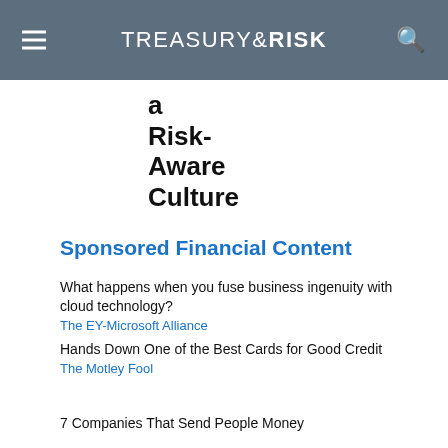TREASURY & RISK
a Risk-Aware Culture
Sponsored Financial Content
What happens when you fuse business ingenuity with cloud technology?
The EY-Microsoft Alliance
Hands Down One of the Best Cards for Good Credit
The Motley Fool
7 Companies That Send People Money